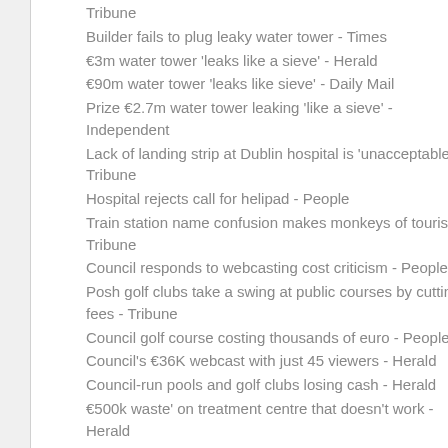Tribune
Builder fails to plug leaky water tower - Times
€3m water tower 'leaks like a sieve' - Herald
€90m water tower 'leaks like sieve' - Daily Mail
Prize €2.7m water tower leaking 'like a sieve' - Independent
Lack of landing strip at Dublin hospital is 'unacceptable' - Tribune
Hospital rejects call for helipad - People
Train station name confusion makes monkeys of tourists - Tribune
Council responds to webcasting cost criticism - People
Posh golf clubs take a swing at public courses by cutting fees - Tribune
Council golf course costing thousands of euro - People
Council's €36K webcast with just 45 viewers - Herald
Council-run pools and golf clubs losing cash - Herald
€500k waste' on treatment centre that doesn't work - Herald
A town with no malice - Irish Daily Mail
Dublin mourns for slain Toyosi - Metro
Council's aim to unite community where Toyosi lived - Herald